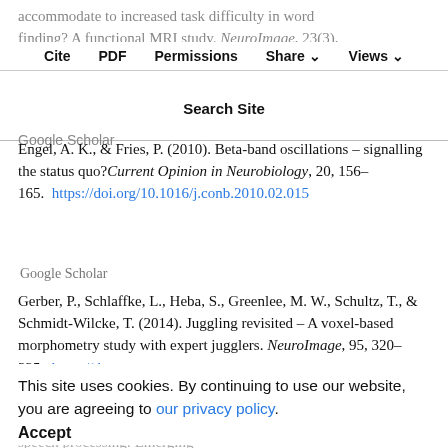accommodate to increased task difficulty in word finding? A functional MRI study. NeuroImage, 23(3), 1152–1160.
Cite  PDF  Permissions  Share  Views  Search Site
Google Scholar
Engel, A. K., & Fries, P. (2010). Beta-band oscillations – signalling the status quo? Current Opinion in Neurobiology, 20, 156–165. https://doi.org/10.1016/j.conb.2010.02.015
Google Scholar
Gerber, P., Schlaffke, L., Heba, S., Greenlee, M. W., Schultz, T., & Schmidt-Wilcke, T. (2014). Juggling revisited – A voxel-based morphometry study with expert jugglers. NeuroImage, 95, 320–325. https://doi.org/10.1016/j.neuroimage.2014.04.033
This site uses cookies. By continuing to use our website, you are agreeing to our privacy policy. Accept
Giraud, A. L., & Poeppel, D. (2012). Cortical Oscillations and speech processing: Emerging